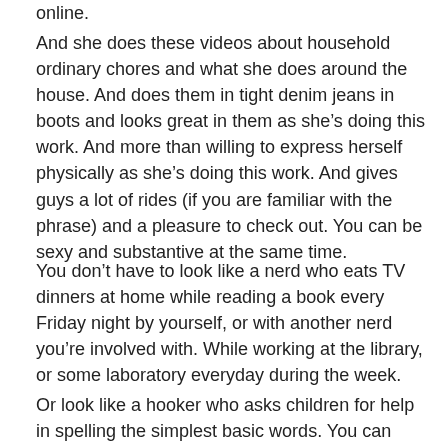online.
And she does these videos about household ordinary chores and what she does around the house. And does them in tight denim jeans in boots and looks great in them as she’s doing this work. And more than willing to express herself physically as she’s doing this work. And gives guys a lot of rides (if you are familiar with the phrase) and a pleasure to check out. You can be sexy and substantive at the same time.
You don’t have to look like a nerd who eats TV dinners at home while reading a book every Friday night by yourself, or with another nerd you’re involved with. While working at the library, or some laboratory everyday during the week.
Or look like a hooker who asks children for help in spelling the simplest basic words. You can have real substance